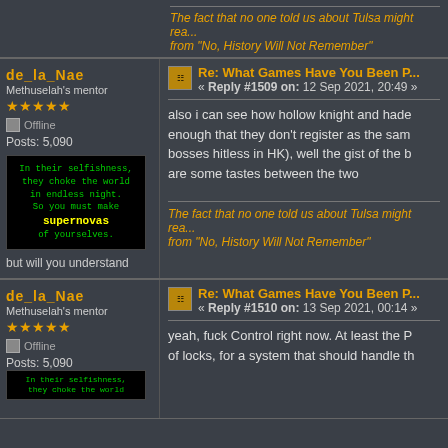The fact that no one told us about Tulsa might rea... from "No, History Will Not Remember"
de_la_Nae — Methuselah's mentor — Posts: 5,090 — Re: What Games Have You Been P... « Reply #1509 on: 12 Sep 2021, 20:49 »
also i can see how hollow knight and hade... enough that they don't register as the sam... bosses hitless in HK), well the gist of the b... are some tastes between the two
The fact that no one told us about Tulsa might rea... from "No, History Will Not Remember"
de_la_Nae — Methuselah's mentor — Posts: 5,090 — Re: What Games Have You Been P... « Reply #1510 on: 13 Sep 2021, 00:14 »
yeah, fuck Control right now. At least the P... of locks, for a system that should handle th...